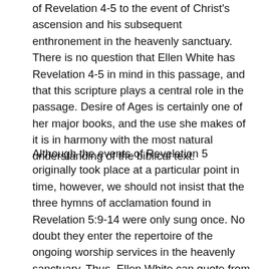of Revelation 4-5 to the event of Christ's ascension and his subsequent enthronement in the heavenly sanctuary. There is no question that Ellen White has Revelation 4-5 in mind in this passage, and that this scripture plays a central role in the passage. Desire of Ages is certainly one of her major books, and the use she makes of it is in harmony with the most natural understanding of the biblical text.
Although the events of Revelation 5 originally took place at a particular point in time, however, we should not insist that the three hymns of acclamation found in Revelation 5:9-14 were only sung once. No doubt they enter the repertoire of the ongoing worship services in the heavenly sanctuary. Thus, Ellen White can quote from this section in the context of what is happening in heaven now (7BC 933; COL 176; MH 417– note that in PP 36 she even quotes Rev 5:11 in a pre-creation context). She can also quote verses 9-13 in the context of the experience of the redeemed as they enter the heavenly sanctuary after the Second Coming (TM 433; GC 645...